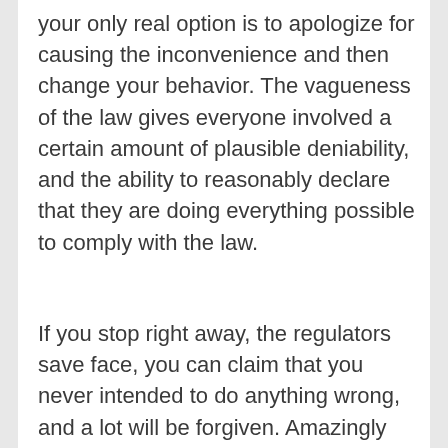your only real option is to apologize for causing the inconvenience and then change your behavior. The vagueness of the law gives everyone involved a certain amount of plausible deniability, and the ability to reasonably declare that they are doing everything possible to comply with the law.
If you stop right away, the regulators save face, you can claim that you never intended to do anything wrong, and a lot will be forgiven. Amazingly this seems to work even with egregious violations. In many ways, you get one free pass in